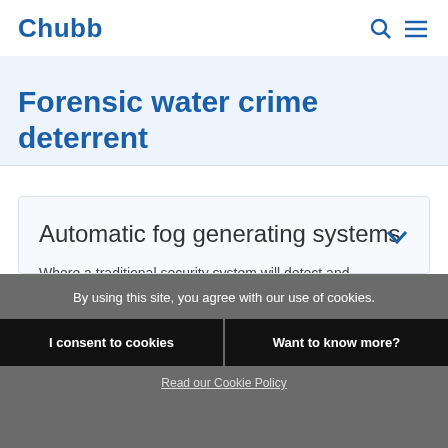Chubb
Forensic water crime deterrent
Automatic fog generating systems
Where a traditional security system will detect and intruder and summon assistance. Security fog
By using this site, you agree with our use of cookies.
I consent to cookies
Want to know more?
Read our Cookie Policy